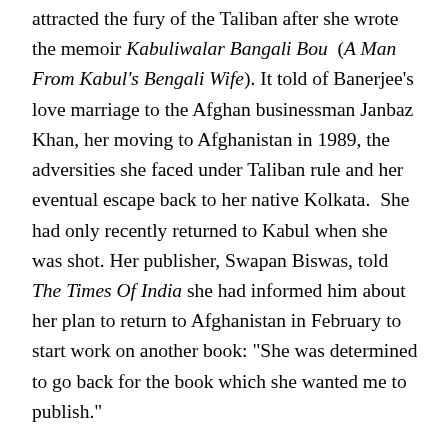attracted the fury of the Taliban after she wrote the memoir Kabuliwalar Bangali Bou (A Man From Kabul's Bengali Wife). It told of Banerjee's love marriage to the Afghan businessman Janbaz Khan, her moving to Afghanistan in 1989, the adversities she faced under Taliban rule and her eventual escape back to her native Kolkata. She had only recently returned to Kabul when she was shot. Her publisher, Swapan Biswas, told The Times Of India she had informed him about her plan to return to Afghanistan in February to start work on another book: "She was determined to go back for the book which she wanted me to publish."
Kabuliwalar Bangali Bou detailed the harsh life inflicted on women in rural Afghanistan. In 1998, Banerjee talked to Outlook India about her book. She explained it told how the Taliban